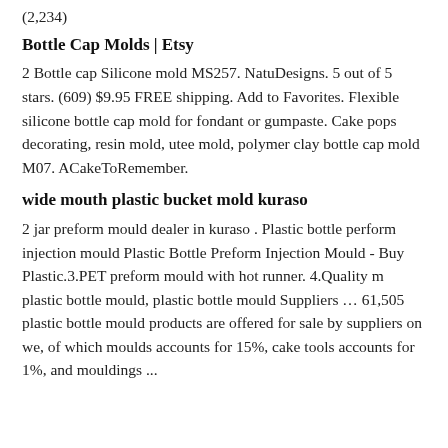(2,234)
Bottle Cap Molds | Etsy
2 Bottle cap Silicone mold MS257. NatuDesigns. 5 out of 5 stars. (609) $9.95 FREE shipping. Add to Favorites. Flexible silicone bottle cap mold for fondant or gumpaste. Cake pops decorating, resin mold, utee mold, polymer clay bottle cap mold M07. ACakeToRemember.
wide mouth plastic bucket mold kuraso
2 jar preform mould dealer in kuraso . Plastic bottle perform injection mould Plastic Bottle Preform Injection Mould - Buy Plastic.3.PET preform mould with hot runner. 4.Quality m plastic bottle mould, plastic bottle mould Suppliers … 61,505 plastic bottle mould products are offered for sale by suppliers on we, of which moulds accounts for 15%, cake tools accounts for 1%, and mouldings ...